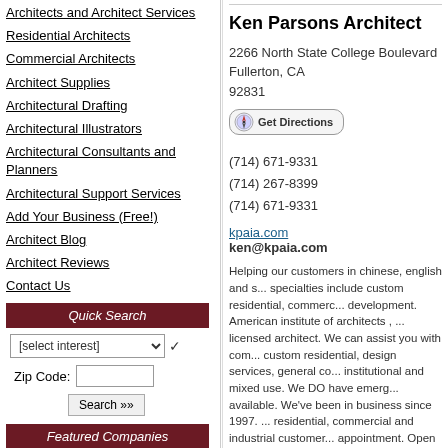Architects and Architect Services
Residential Architects
Commercial Architects
Architect Supplies
Architectural Drafting
Architectural Illustrators
Architectural Consultants and Planners
Architectural Support Services
Add Your Business (Free!)
Architect Blog
Architect Reviews
Contact Us
Quick Search
Featured Companies
Newport Collaborative Architects in Newport, RI
BMA Architects Planners in Rutland, VT
Ken Parsons Architect
2266 North State College Boulevard
Fullerton, CA
92831
(714) 671-9331
(714) 267-8399
(714) 671-9331
kpaia.com
ken@kpaia.com
Helping our customers in chinese, english and s... specialties include custom residential, commerc... development. American institute of architects , ... licensed architect. We can assist you with com... custom residential, design services, general co... institutional and mixed use. We DO have emerg... available. We've been in business since 1997. ... residential, commercial and industrial customer... appointment. Open for business mon-thu: 09:0... and fri 09:00 am-05:00 pm.
Share Your Review